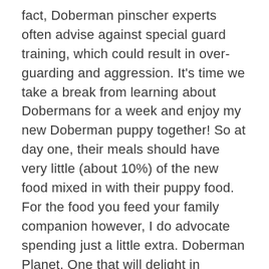fact, Doberman pinscher experts often advise against special guard training, which could result in over-guarding and aggression. It's time we take a break from learning about Dobermans for a week and enjoy my new Doberman puppy together! So at day one, their meals should have very little (about 10%) of the new food mixed in with their puppy food. For the food you feed your family companion however, I do advocate spending just a little extra. Doberman Planet. One that will delight in keeping fit, and staying active. In fact, I was never woken the first few nights with crying from my new puppy. But my Banfield vet is extremely knowledgeable about Dobermans, professional, and very caring. However, Doberman puppies can grow too quickly – causing strain on joints and bones. Good names for female and male Dobermans. If you pin unrelated content, you'll be removed. You'll find other things later on that you'll need of course. Also she really likes lettuce and celery. Aug 16, 2018 - You want to feed your Doberman a high-quality kibble. Trust me, you don't